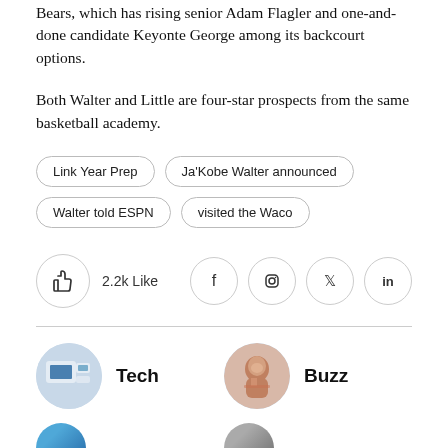Bears, which has rising senior Adam Flagler and one-and-done candidate Keyonte George among its backcourt options.
Both Walter and Little are four-star prospects from the same basketball academy.
Link Year Prep
Ja'Kobe Walter announced
Walter told ESPN
visited the Waco
2.2k Like
[Figure (infographic): Social media icons: Facebook, Instagram, Twitter, LinkedIn in circular borders]
Tech
Buzz